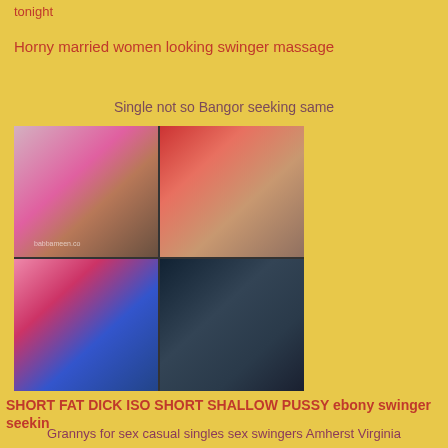tonight
Horny married women looking swinger massage
Single not so Bangor seeking same
[Figure (photo): A 2x2 grid of four adult-content images with various figures]
SHORT FAT DICK ISO SHORT SHALLOW PUSSY ebony swinger seekin
Grannys for sex casual singles sex swingers Amherst Virginia